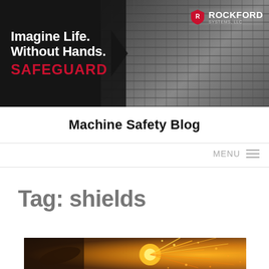[Figure (photo): Rockford Systems LLC banner advertisement showing a worker operating machinery with text 'Imagine Life. Without Hands. SAFEGUARD' and Rockford Systems LLC logo with arrow graphic]
Machine Safety Blog
MENU
Tag: shields
[Figure (photo): Photo of a worker using grinder or welding equipment with bright orange sparks flying]